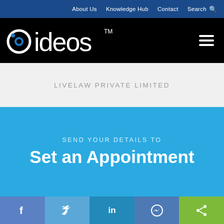About Us   Knowledge Hub   Contact   Search
[Figure (logo): dideos logo with TM mark on black background with hamburger menu icon]
LIVELAW PRIVATE LIMITED
SEND YOUR DETAILS TO
Set an Appointment
Your Name
Facebook  Twitter  LinkedIn  Messenger  Share